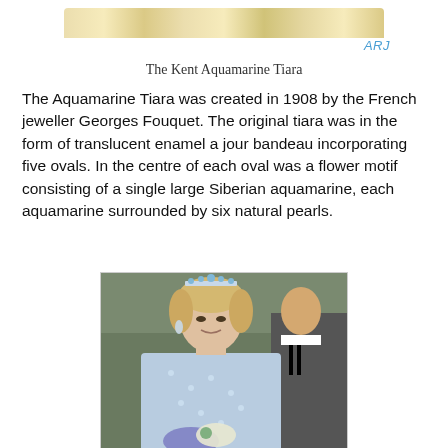[Figure (photo): Partial view of the Kent Aquamarine Tiara at top of page]
The Kent Aquamarine Tiara
The Aquamarine Tiara was created in 1908 by the French jeweller Georges Fouquet. The original tiara was in the form of translucent enamel a jour bandeau incorporating five ovals. In the centre of each oval was a flower motif consisting of a single large Siberian aquamarine, each aquamarine surrounded by six natural pearls.
[Figure (photo): Woman wearing the Kent Aquamarine Tiara, dressed in a light blue gown and holding flowers, with a man in a tuxedo visible in the background]